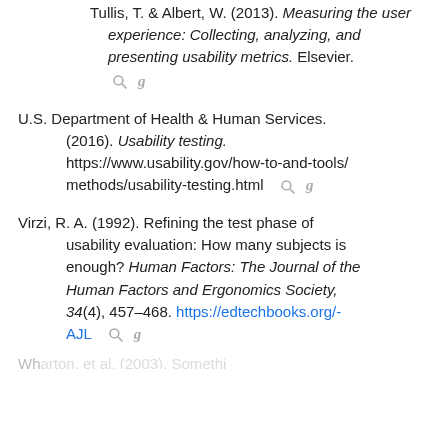Tullis, T. & Albert, W. (2013). Measuring the user experience: Collecting, analyzing, and presenting usability metrics. Elsevier.
U.S. Department of Health & Human Services. (2016). Usability testing. https://www.usability.gov/how-to-and-tools/methods/usability-testing.html
Virzi, R. A. (1992). Refining the test phase of usability evaluation: How many subjects is enough? Human Factors: The Journal of the Human Factors and Ergonomics Society, 34(4), 457–468. https://edtechbooks.org/-AJL
(partial, cut off at bottom)